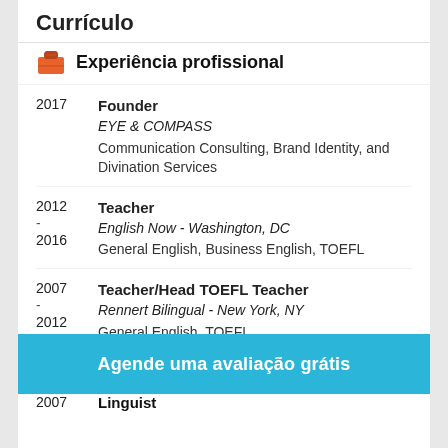Curriculum
Experiência profissional
2017 | Founder | EYE & COMPASS | Communication Consulting, Brand Identity, and Divination Services
2012 - 2016 | Teacher | English Now - Washington, DC | General English, Business English, TOEFL
2007 - 2012 | Teacher/Head TOEFL Teacher | Rennert Bilingual - New York, NY | General English, TOEFL
2007 | Teacher
Agende uma avaliação grátis
2007 | Linguist